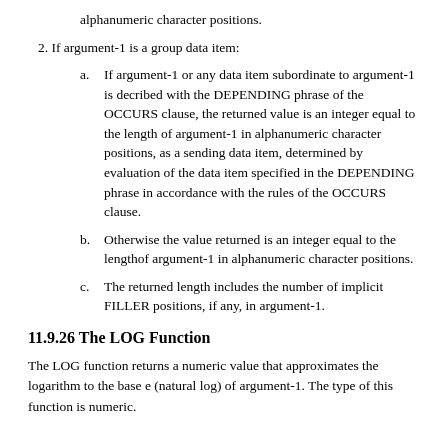alphanumeric character positions.
2. If argument-1 is a group data item:
a. If argument-1 or any data item subordinate to argument-1 is decribed with the DEPENDING phrase of the OCCURS clause, the returned value is an integer equal to the length of argument-1 in alphanumeric character positions, as a sending data item, determined by evaluation of the data item specified in the DEPENDING phrase in accordance with the rules of the OCCURS clause.
b. Otherwise the value returned is an integer equal to the lengthof argument-1 in alphanumeric character positions.
c. The returned length includes the number of implicit FILLER positions, if any, in argument-1.
11.9.26 The LOG Function
The LOG function returns a numeric value that approximates the logarithm to the base e (natural log) of argument-1. The type of this function is numeric.